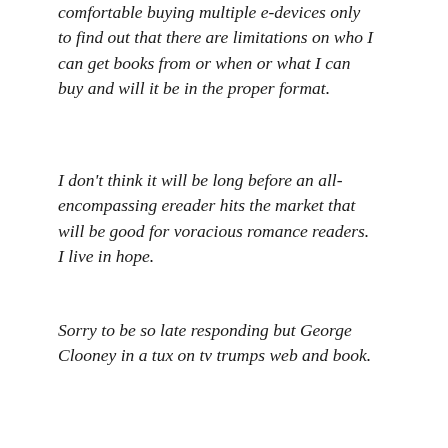comfortable buying multiple e-devices only to find out that there are limitations on who I can get books from or when or what I can buy and will it be in the proper format.
I don't think it will be long before an all-encompassing ereader hits the market that will be good for voracious romance readers. I live in hope.
Sorry to be so late responding but George Clooney in a tux on tv trumps web and book.